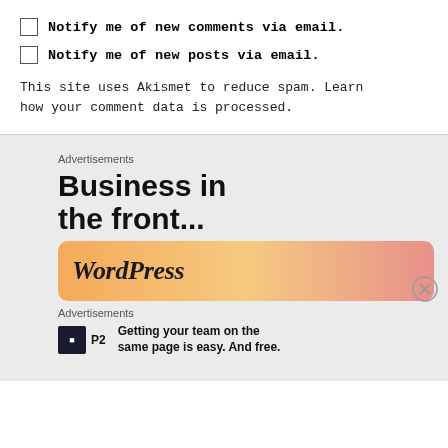Notify me of new comments via email.
Notify me of new posts via email.
This site uses Akismet to reduce spam. Learn how your comment data is processed.
Advertisements
[Figure (illustration): WordPress advertisement banner reading 'Business in the front...' with WordPress logo on gradient orange-pink background]
Advertisements
Getting your team on the same page is easy. And free.